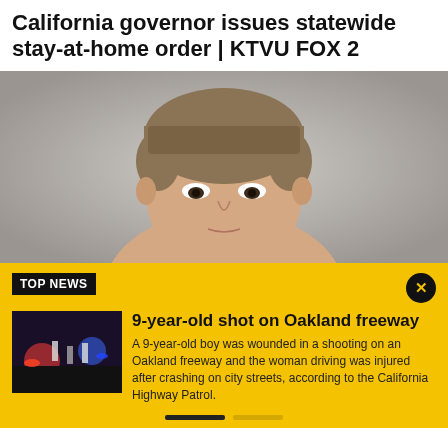California governor issues statewide stay-at-home order | KTVU FOX 2
[Figure (photo): Mugshot photo of a young Asian man with brown hair against a gray background]
TOP NEWS
[Figure (photo): Thumbnail of nighttime scene with police lights on a freeway]
9-year-old shot on Oakland freeway
A 9-year-old boy was wounded in a shooting on an Oakland freeway and the woman driving was injured after crashing on city streets, according to the California Highway Patrol.